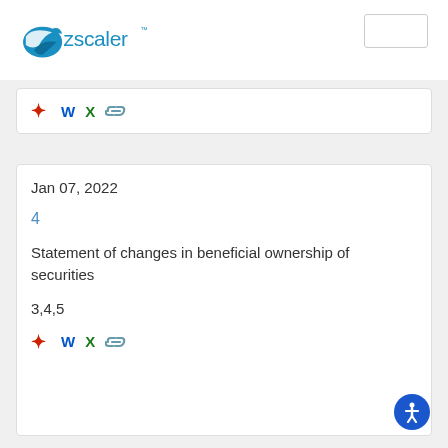[Figure (logo): Zscaler logo with blue cloud/swoosh icon and 'zscaler' wordmark with TM symbol]
PDF icon, W icon, X icon, link icon (document format icons)
Jan 07, 2022
4
Statement of changes in beneficial ownership of securities
3,4,5
PDF icon, W icon, X icon, link icon (document format icons)